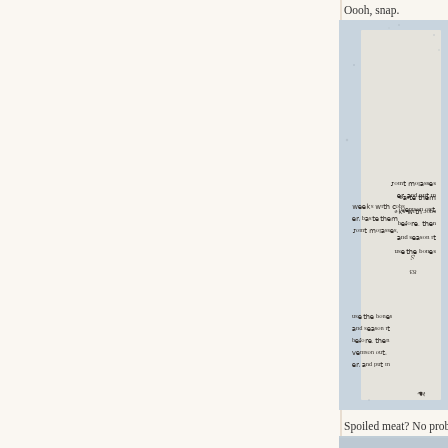Oooh, snap.
[Figure (photo): Photograph of an old book page shown upside-down/mirrored with text about cobs, basting, molasses, bones, venison, and a decorative flourish, page number 83 visible]
Spoiled meat? No problem. You c
[Figure (photo): Partial photograph, bottom edge visible, light blue/grey background]